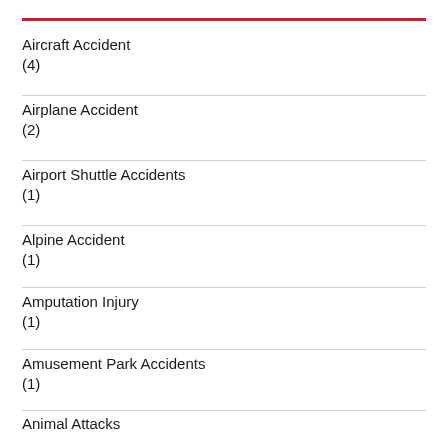Aircraft Accident
(4)
Airplane Accident
(2)
Airport Shuttle Accidents
(1)
Alpine Accident
(1)
Amputation Injury
(1)
Amusement Park Accidents
(1)
Animal Attacks
(6)
Assault And Battery